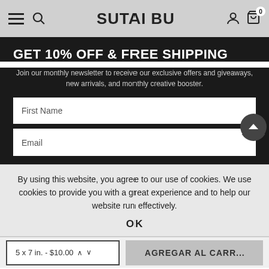SUTAI BU
GET 10% OFF & FREE SHIPPING
Join our monthly newsletter to receive our exclusive offers and giveaways, new arrivals, and monthly creative booster.
First Name
Email
By using this website, you agree to our use of cookies. We use cookies to provide you with a great experience and to help our website run effectively.
OK
5 x 7 in. - $10.00
AGREGAR AL CARR...